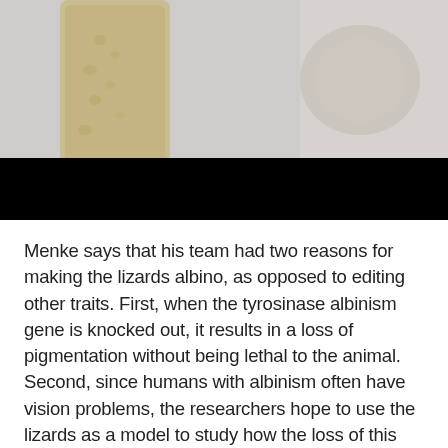[Figure (photo): Close-up photograph of a lizard (partially visible, tan/beige textured skin) against a blurred background, with a large black redacted/censored bar overlaid across the lower portion of the image.]
Menke says that his team had two reasons for making the lizards albino, as opposed to editing other traits. First, when the tyrosinase albinism gene is knocked out, it results in a loss of pigmentation without being lethal to the animal. Second, since humans with albinism often have vision problems, the researchers hope to use the lizards as a model to study how the loss of this gene impacts retina development.